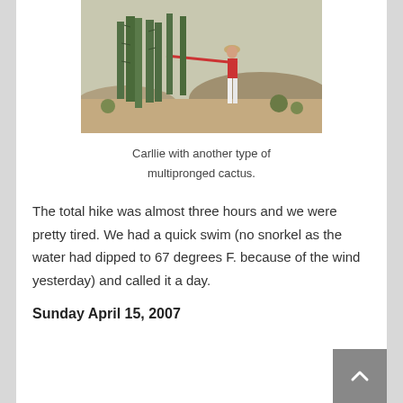[Figure (photo): A woman in a red top and white pants standing next to a large multi-pronged cactus in a desert landscape.]
Carllie with another type of multipronged cactus.
The total hike was almost three hours and we were pretty tired. We had a quick swim (no snorkel as the water had dipped to 67 degrees F. because of the wind yesterday) and called it a day.
Sunday April 15, 2007